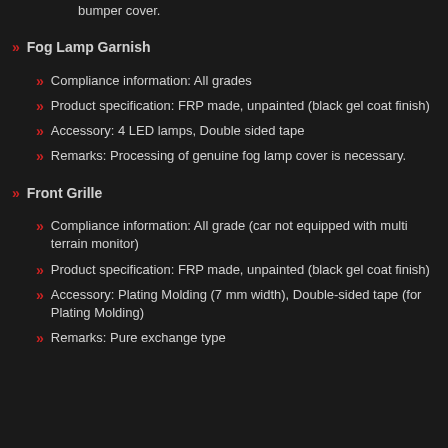bumper cover.
Fog Lamp Garnish
Compliance information: All grades
Product specification: FRP made, unpainted (black gel coat finish)
Accessory: 4 LED lamps, Double sided tape
Remarks: Processing of genuine fog lamp cover is necessary.
Front Grille
Compliance information: All grade (car not equipped with multi terrain monitor)
Product specification: FRP made, unpainted (black gel coat finish)
Accessory: Plating Molding (7 mm width), Double-sided tape (for Plating Molding)
Remarks: Pure exchange type